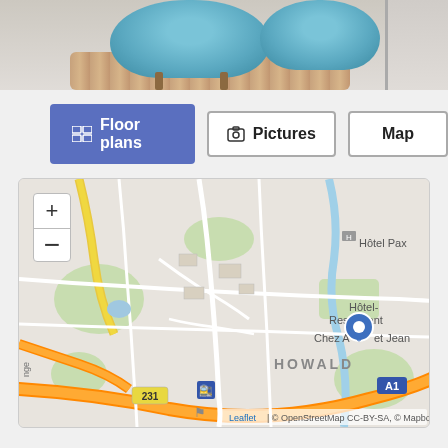[Figure (photo): Top portion showing interior photo with blue chairs and rug, and a secondary photo on the right side]
[Figure (other): Navigation buttons: Floor plans (active/blue), Pictures, Map]
[Figure (map): Interactive Leaflet map showing Howald area in Luxembourg with a blue pin marker at Hôtel-Restaurant Chez André et Jean, showing Hotel Pax, road 231, A1 motorway, zoom controls. Attribution: Leaflet | © OpenStreetMap CC-BY-SA, © Mapbox]